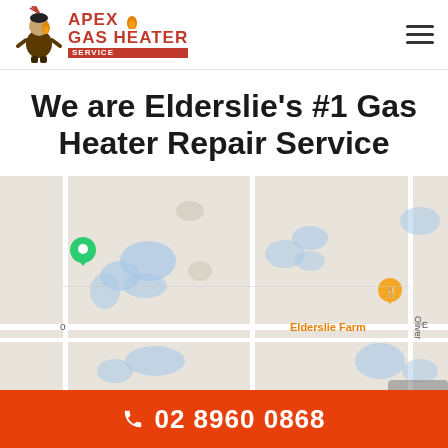Apex Gas Heater Service
We are Elderslie's #1 Gas Heater Repair Service
[Figure (map): Google Maps view showing Elderslie Farm area with a green location pin on the left side and an orange restaurant pin near 'Elderslie Farm' label in the center. Road named 'Oliver' visible on the right. Water bodies shown in blue on light grey map background.]
02 8960 0868